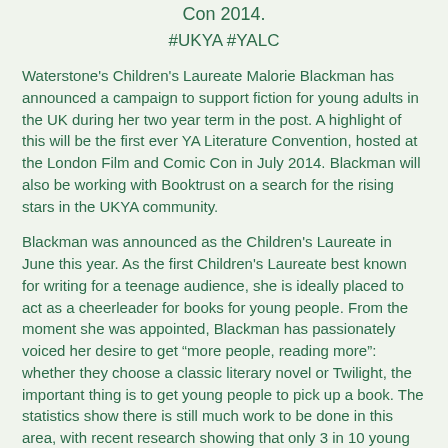Con 2014.
#UKYA #YALC
Waterstone's Children's Laureate Malorie Blackman has announced a campaign to support fiction for young adults in the UK during her two year term in the post. A highlight of this will be the first ever YA Literature Convention, hosted at the London Film and Comic Con in July 2014. Blackman will also be working with Booktrust on a search for the rising stars in the UKYA community.
Blackman was announced as the Children's Laureate in June this year. As the first Children's Laureate best known for writing for a teenage audience, she is ideally placed to act as a cheerleader for books for young people. From the moment she was appointed, Blackman has passionately voiced her desire to get “more people, reading more”: whether they choose a classic literary novel or Twilight, the important thing is to get young people to pick up a book. The statistics show there is still much work to be done in this area, with recent research showing that only 3 in 10 young people read a bit most of a day, and a fifth of youngpeople